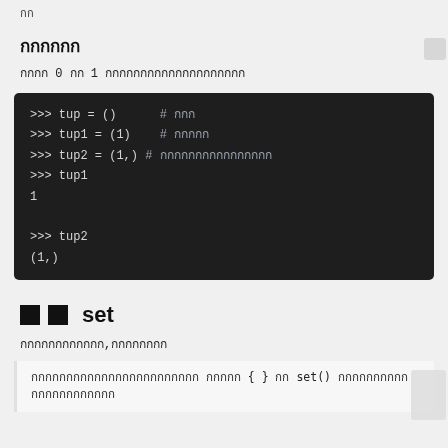กก
กกกกกก
กกกก 0 กก 1 กกกกกกกกกกกกกกกกกกกก
[Figure (screenshot): Python code block showing tuple creation examples with prompts and output: tup = (), tup1 = (1), tup2 = (1,), then evaluating tup1 gives 1 and tup2 gives (1,)]
กก set
กกกกกกกกกกกก,กกกกกกกก
กกกกกกกกกกกกกกกกกกกกกกกก กกกกก { } กก set() กกกกกกกกกกกกกกกกกกกกกก